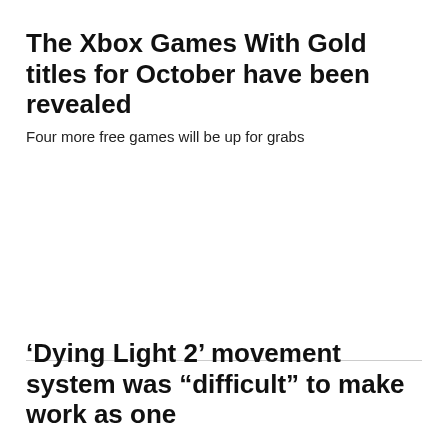The Xbox Games With Gold titles for October have been revealed
Four more free games will be up for grabs
‘Dying Light 2’ movement system was “difficult” to make work as one